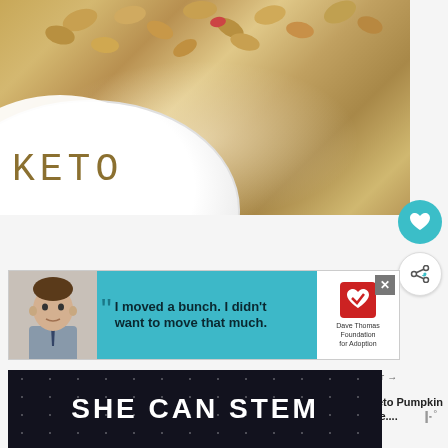[Figure (photo): Close-up photo of a keto dessert with peanut butter glaze and roasted peanuts on top, served on a white plate. A white circular badge with 'KETO' text overlays the lower left of the image.]
[Figure (screenshot): Advertisement banner for Dave Thomas Foundation for Adoption featuring a boy with quote 'I moved a bunch. I didn't want to move that much.']
[Figure (screenshot): What's Next panel showing Keto Pumpkin Pie thumbnail and title]
[Figure (screenshot): SHE CAN STEM advertisement banner with dark background and white bold text, alongside mmm logo]